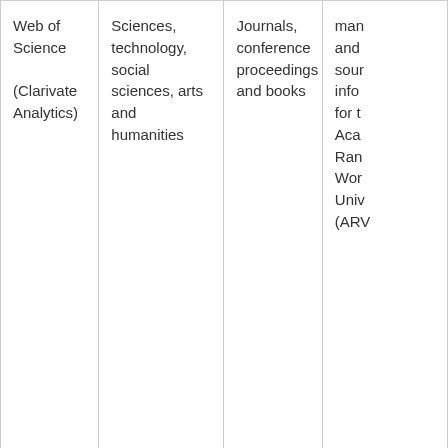| Web of Science

(Clarivate Analytics) | Sciences, technology, social sciences, arts and humanities | Journals, conference proceedings and books | man
and
sour
info
for t
Aca
Ran
Wor
Univ
(ARV |
|  |  |  | Ove
with
of S
data
also
man
jour
cove |